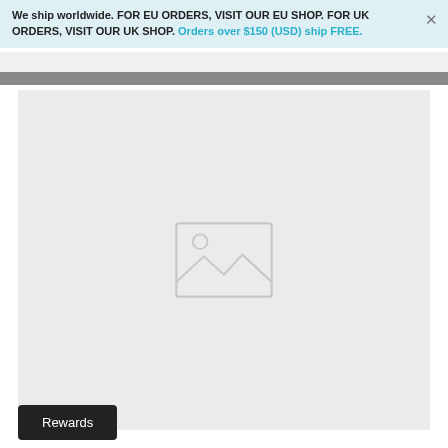We ship worldwide. FOR EU ORDERS, VISIT OUR EU SHOP. FOR UK ORDERS, VISIT OUR UK SHOP. Orders over $150 (USD) ship FREE.
[Figure (photo): Placeholder image area with a light gray background and a placeholder image icon (mountain/landscape with sun) in the center]
Rewards